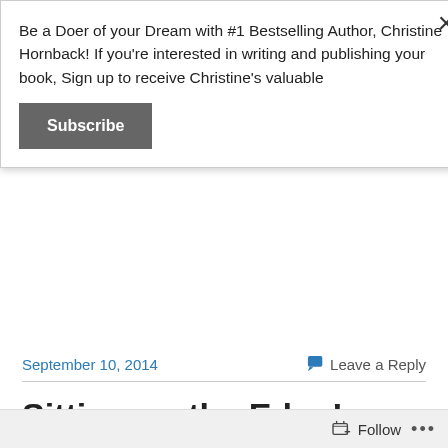Be a Doer of your Dream with #1 Bestselling Author, Christine Hornback! If you're interested in writing and publishing your book, Sign up to receive Christine's valuable
Subscribe
September 10, 2014
Leave a Reply
Sitting on the Edge!
Sitting on the Edge!
In my last week's blog entitled Good bye Summer, I